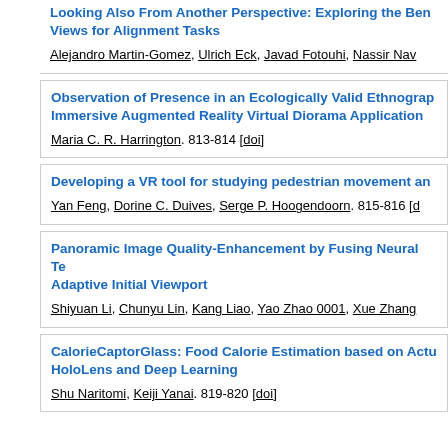Looking Also From Another Perspective: Exploring the Benefits of Multiple Views for Alignment Tasks
Alejandro Martin-Gomez, Ulrich Eck, Javad Fotouhi, Nassir Nav...
Observation of Presence in an Ecologically Valid Ethnographic Study using an Immersive Augmented Reality Virtual Diorama Application
Maria C. R. Harrington. 813-814 [doi]
Developing a VR tool for studying pedestrian movement an...
Yan Feng, Dorine C. Duives, Serge P. Hoogendoorn. 815-816 [d...
Panoramic Image Quality-Enhancement by Fusing Neural Te... Adaptive Initial Viewport
Shiyuan Li, Chunyu Lin, Kang Liao, Yao Zhao 0001, Xue Zhang...
CalorieCaptorGlass: Food Calorie Estimation based on Actu... HoloLens and Deep Learning
Shu Naritomi, Keiji Yanai. 819-820 [doi]